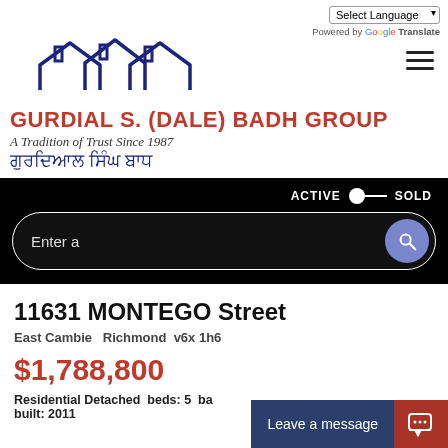[Figure (logo): Gurdial S. (Dale) Badh Group real estate logo with house roofline graphic, brand name in red, tagline in italic, and Punjabi script]
GURDIAL S. (DALE) BADH GROUP
A Tradition of Trust Since 1987
ਗੁਰਦਿਆਲ ਸਿੰਘ ਬਾਧ
ACTIVE   SOLD
Enter a
11631 MONTEGO Street
East Cambie   Richmond   v6x 1h6
$1,788,800
Residential Detached  beds: 5  ba  built: 2011
Leave a message